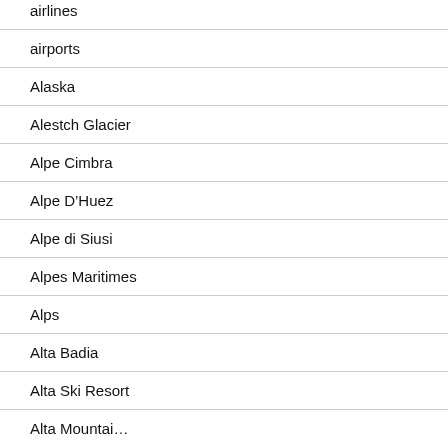airlines
airports
Alaska
Alestch Glacier
Alpe Cimbra
Alpe D'Huez
Alpe di Siusi
Alpes Maritimes
Alps
Alta Badia
Alta Ski Resort
Alte Mountai...